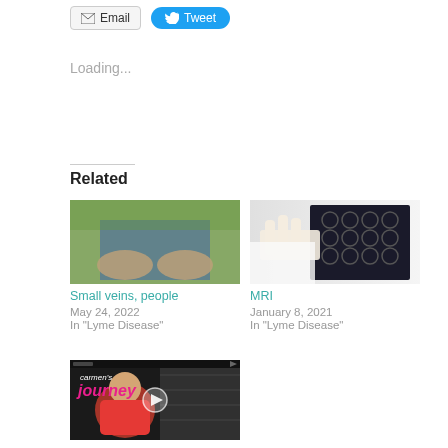Email
Tweet
Loading...
Related
[Figure (photo): Blurred image of a person showing arms with veins visible, outdoor background]
Small veins, people
May 24, 2022
In "Lyme Disease"
[Figure (photo): Doctor or radiologist holding and examining an MRI brain scan film]
MRI
January 8, 2021
In "Lyme Disease"
[Figure (screenshot): Video thumbnail showing a woman in a red shirt with text reading "carmen's journey" on a dark background with a play button]